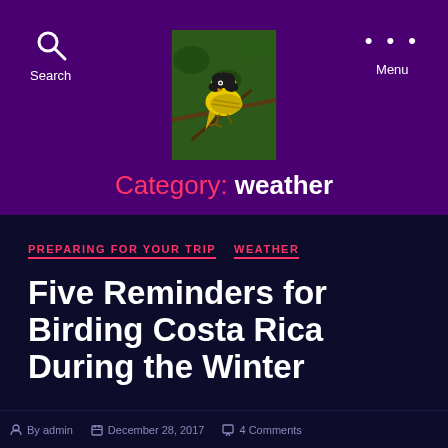Search   Menu
[Figure (photo): A yellow and black bird (warbler) perched on a branch, photographed in a natural outdoor setting]
Category: weather
PREPARING FOR YOUR TRIP   WEATHER
Five Reminders for Birding Costa Rica During the Winter
By admin   December 28, 2017   4 Comments